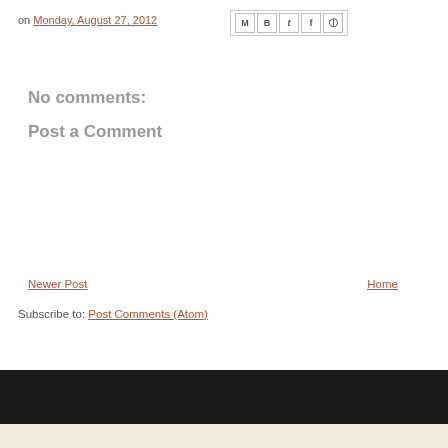on Monday, August 27, 2012
[Figure (other): Social sharing icons: email (M), Blogger (B), Twitter (t), Facebook (f), Pinterest (circle with pin)]
No comments:
Post a Comment
Newer Post
Home
Subscribe to: Post Comments (Atom)
Copyright © 2011
Design by NewWpThemes | Blogger Th...